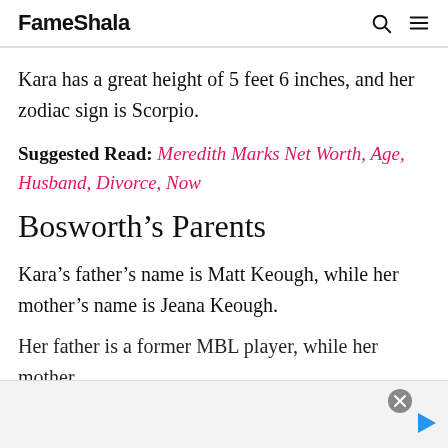FameShala
Kara has a great height of 5 feet 6 inches, and her zodiac sign is Scorpio.
Suggested Read: Meredith Marks Net Worth, Age, Husband, Divorce, Now
Bosworth's Parents
Kara's father's name is Matt Keough, while her mother's name is Jeana Keough.
Her father is a former MBL player, while her mother